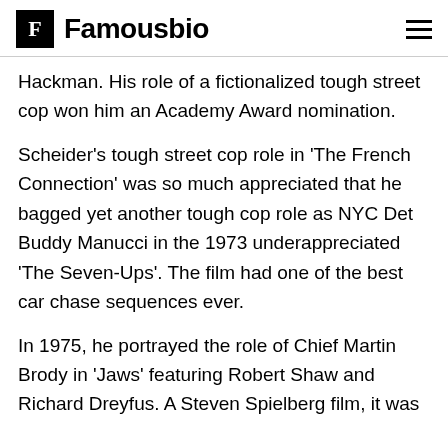F Famousbio
Hackman. His role of a fictionalized tough street cop won him an Academy Award nomination.
Scheider's tough street cop role in 'The French Connection' was so much appreciated that he bagged yet another tough cop role as NYC Det Buddy Manucci in the 1973 underappreciated 'The Seven-Ups'. The film had one of the best car chase sequences ever.
In 1975, he portrayed the role of Chief Martin Brody in 'Jaws' featuring Robert Shaw and Richard Dreyfus. A Steven Spielberg film, it was